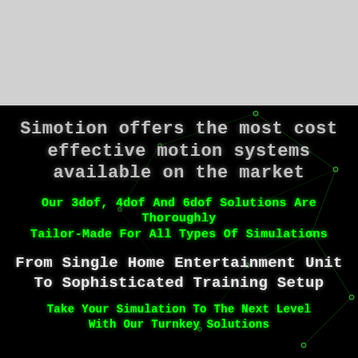[Figure (illustration): Light grey banner/header area at top of page]
Simotion offers the most cost effective motion systems available on the market
Our 3dof, 4dof And 6dof Solutions Are Thoroughly Tailor-Made For All Types Of Simulations
From Single Home Entertainment Unit To Sophisticated Training Setup
Take Your Simulation To The Next Level With Our Turnkey Solutions